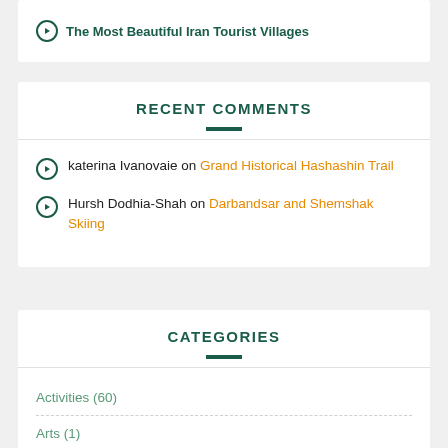The Most Beautiful Iran Tourist Villages
RECENT COMMENTS
katerina Ivanovaie on Grand Historical Hashashin Trail
Hursh Dodhia-Shah on Darbandsar and Shemshak Skiing
CATEGORIES
Activities (60)
Arts (1)